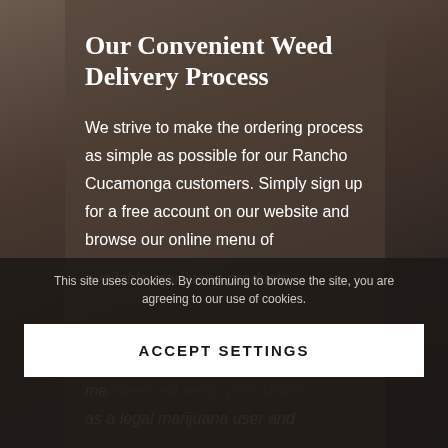[Figure (photo): Close-up photo of rolled cannabis/marijuana, brownish-grey background texture]
Our Convenient Weed Delivery Process
We strive to make the ordering process as simple as possible for our Rancho Cucamonga customers. Simply sign up for a free account on our website and browse our online menu of available marijuana products. Once you check out, one of our friendly & knowledgeable team members will verify your status as a legal marijuana user and
This site uses cookies. By continuing to browse the site, you are agreeing to our use of cookies.
ACCEPT SETTINGS